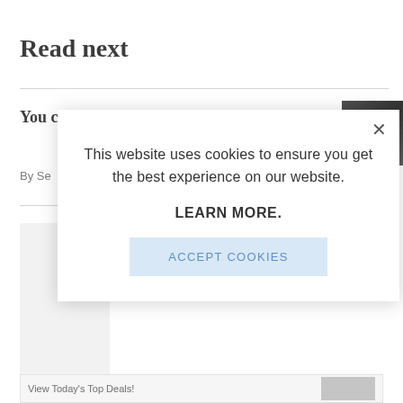Read next
You can now renew your vehicle lice...
By Se...
This website uses cookies to ensure you get the best experience on our website.

LEARN MORE.

ACCEPT COOKIES